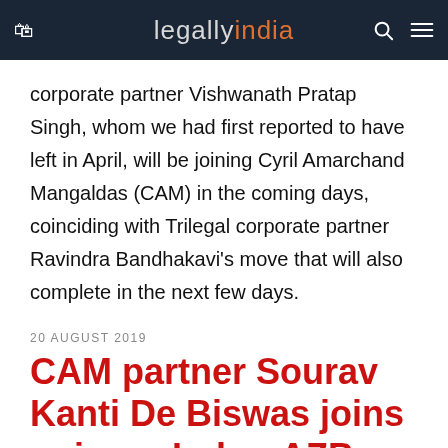legally india
corporate partner Vishwanath Pratap Singh, whom we had first reported to have left in April, will be joining Cyril Amarchand Mangaldas (CAM) in the coming days, coinciding with Trilegal corporate partner Ravindra Bandhakavi's move that will also complete in the next few days.
20 AUGUST 2019
CAM partner Sourav Kanti De Biswas joins unicorn Indus-AZB-client Oyo as VP with transactions